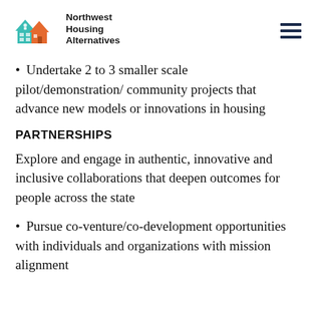Northwest Housing Alternatives
Undertake 2 to 3 smaller scale pilot/demonstration/ community projects that advance new models or innovations in housing
PARTNERSHIPS
Explore and engage in authentic, innovative and inclusive collaborations that deepen outcomes for people across the state
Pursue co-venture/co-development opportunities with individuals and organizations with mission alignment